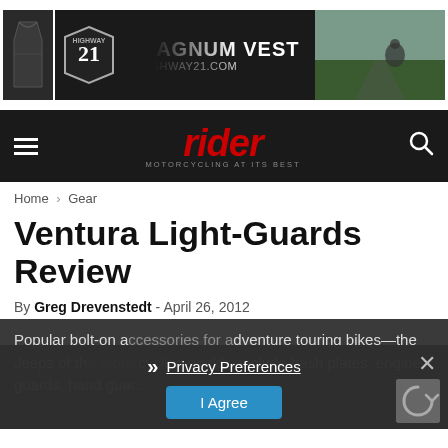[Figure (screenshot): Highway 21 Magnum Vest advertisement banner with vest product image on left and motorcycle rider on right]
[Figure (logo): Rider Magazine logo with red italic text 'rider' and tagline 'MOTORCYCLING AT ITS BEST' on dark nav bar]
Home › Gear
Ventura Light-Guards Review
By Greg Drevenstedt - April 26, 2012
Popular bolt-on accessories for adventure touring bikes—the Jeeps of the motorcycling world—include bash plates, engine guards, hand guar...